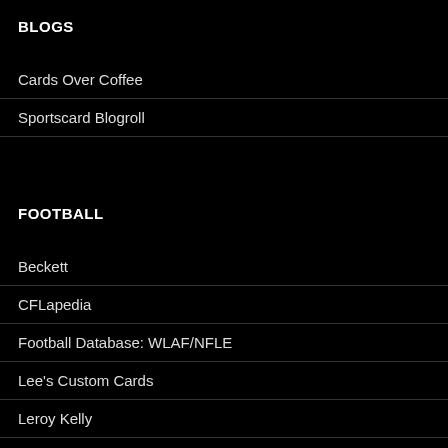BLOGS
Cards Over Coffee
Sportscard Blogroll
FOOTBALL
Beckett
CFLapedia
Football Database: WLAF/NFLE
Lee's Custom Cards
Leroy Kelly
Pro Football Reference